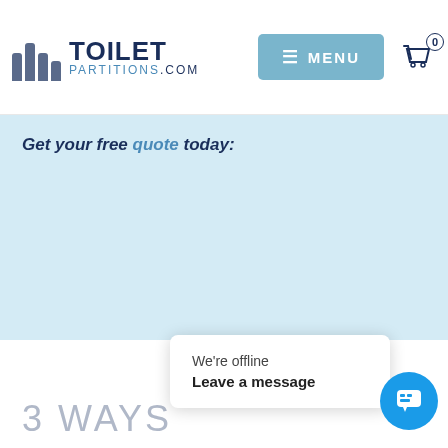TOILET PARTITIONS.com  MENU  0
Get your free quote today:
3 WAYS
[Figure (screenshot): Chat popup overlay with 'We're offline' and 'Leave a message' text, plus blue chat bubble icon]
We're offline
Leave a message